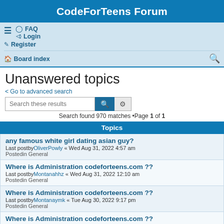CodeForTeens Forum
≡  FAQ  Login  Register  Board index  (search icon)
Unanswered topics
< Go to advanced search
Search these results (search box)
Search found 970 matches •Page 1 of 1
Topics
any famous white girl dating asian guy?
Last postby OliverPowly « Wed Aug 31, 2022 4:57 am
Posted in General
Where is Administration codeforteens.com ??
Last postby Montanahhz « Wed Aug 31, 2022 12:10 am
Posted in General
Where is Administration codeforteens.com ??
Last postby Montanaymk « Tue Aug 30, 2022 9:17 pm
Posted in General
Where is Administration codeforteens.com ??
Last postby Montanatmz « Tue Aug 30, 2022 9:41 am